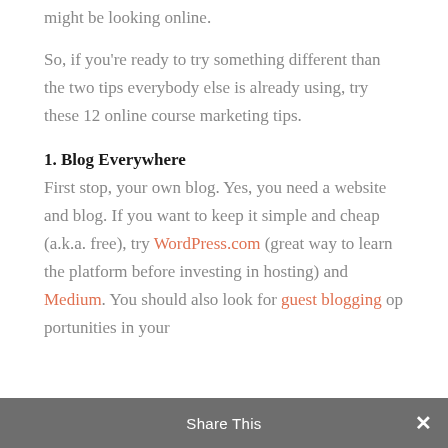might be looking online.
So, if you're ready to try something different than the two tips everybody else is already using, try these 12 online course marketing tips.
1. Blog Everywhere
First stop, your own blog. Yes, you need a website and blog. If you want to keep it simple and cheap (a.k.a. free), try WordPress.com (great way to learn the platform before investing in hosting) and Medium. You should also look for guest blogging opportunities in your
Share This